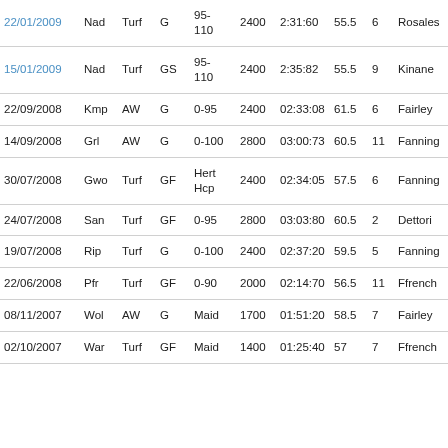| Date | Venue | Surface | Grade | Class | Dist | Time | Weight | Num | Jockey |
| --- | --- | --- | --- | --- | --- | --- | --- | --- | --- |
| 22/01/2009 | Nad | Turf | G | 95-110 | 2400 | 2:31:60 | 55.5 | 6 | Rosales |
| 15/01/2009 | Nad | Turf | GS | 95-110 | 2400 | 2:35:82 | 55.5 | 9 | Kinane |
| 22/09/2008 | Kmp | AW | G | 0-95 | 2400 | 02:33:08 | 61.5 | 6 | Fairley |
| 14/09/2008 | Grl | AW | G | 0-100 | 2800 | 03:00:73 | 60.5 | 11 | Fanning |
| 30/07/2008 | Gwo | Turf | GF | Hert Hcp | 2400 | 02:34:05 | 57.5 | 6 | Fanning |
| 24/07/2008 | San | Turf | GF | 0-95 | 2800 | 03:03:80 | 60.5 | 2 | Dettori |
| 19/07/2008 | Rip | Turf | G | 0-100 | 2400 | 02:37:20 | 59.5 | 5 | Fanning |
| 22/06/2008 | Pfr | Turf | GF | 0-90 | 2000 | 02:14:70 | 56.5 | 11 | Ffrench |
| 08/11/2007 | Wol | AW | G | Maid | 1700 | 01:51:20 | 58.5 | 7 | Fairley |
| 02/10/2007 | War | Turf | GF | Maid | 1400 | 01:25:40 | 57 | 7 | Ffrench |